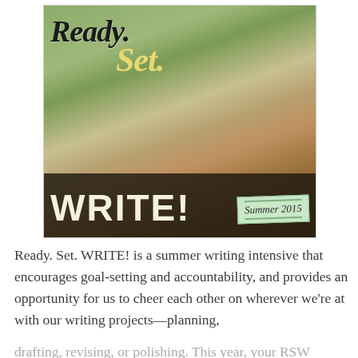[Figure (photo): Promotional image for 'Ready. Set. WRITE!' summer 2015 writing intensive. Shows a woman sitting in a hammock outdoors working on a laptop. Bold decorative text overlays: 'Ready.' in black italic serif, 'Set.' in yellow italic serif, 'WRITE!' in large white bold sans-serif. A light green note tag reads 'Summer 2015' in the bottom right corner.]
Ready. Set. WRITE! is a summer writing intensive that encourages goal-setting and accountability, and provides an opportunity for us to cheer each other on wherever we're at with our writing projects—planning, drafting, revising, or polishing. This year, your RSW